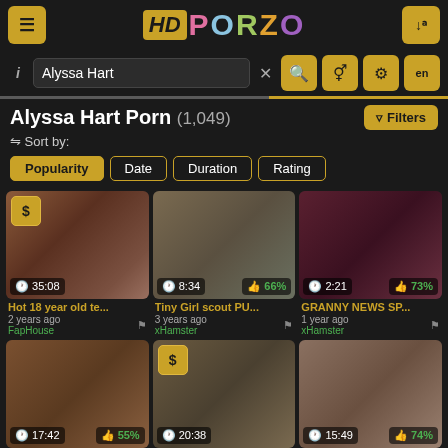HD PORZO
Search: Alyssa Hart
Alyssa Hart Porn (1,049)
Sort by: Popularity | Date | Duration | Rating
[Figure (screenshot): Video thumbnail 1 - blurred adult content, duration 35:08, paid content]
Hot 18 year old te... 2 years ago FapHouse
[Figure (screenshot): Video thumbnail 2 - blurred adult content, duration 8:34, rating 66%]
Tiny Girl scout PU... 3 years ago xHamster
[Figure (screenshot): Video thumbnail 3 - blurred adult content, duration 2:21, rating 73%]
GRANNY NEWS SP... 1 year ago xHamster
[Figure (screenshot): Video thumbnail 4 - blurred adult content, duration 17:42, rating 55%]
Hot Redhead Teen...
[Figure (screenshot): Video thumbnail 5 - blurred adult content, paid content, duration 20:38]
Tiny Teen Redhea...
[Figure (screenshot): Video thumbnail 6 - blurred adult content, duration 15:49, rating 74%]
Alyssa Hart + Mo...